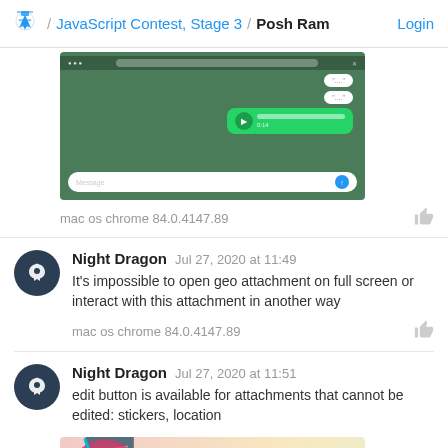🏆 / JavaScript Contest, Stage 3 / Posh Ram  Login
[Figure (screenshot): WhatsApp-like mobile app screenshot showing chat interface with voice message bubble on green background]
mac os chrome 84.0.4147.89
Night Dragon  Jul 27, 2020 at 11:49
It's impossible to open geo attachment on full screen or interact with this attachment in another way
mac os chrome 84.0.4147.89
Night Dragon  Jul 27, 2020 at 11:51
edit button is available for attachments that cannot be edited: stickers, location
[Figure (screenshot): Screenshot showing a cartoon sticker (pink character) with a Reply dialog box overlay]